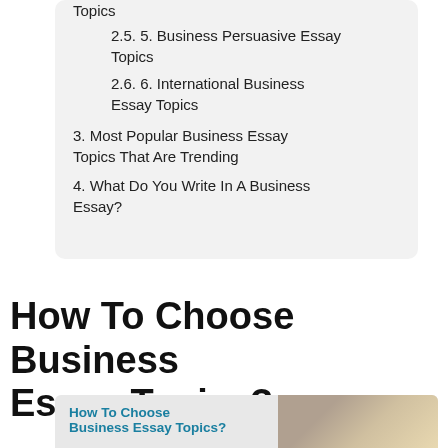Topics
2.5. 5. Business Persuasive Essay Topics
2.6. 6. International Business Essay Topics
3. Most Popular Business Essay Topics That Are Trending
4. What Do You Write In A Business Essay?
How To Choose Business Essay Topics?
[Figure (photo): Image with text overlay reading 'How To Choose Business Essay Topics?' with a photo of a person studying in the background]